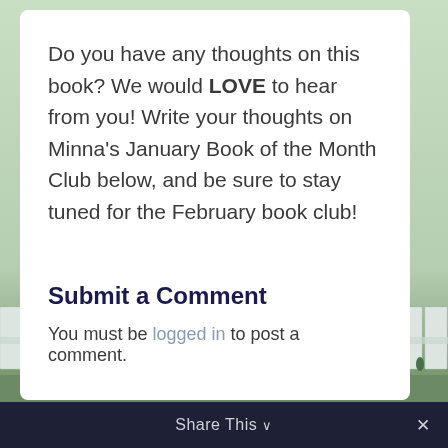Do you have any thoughts on this book? We would LOVE to hear from you! Write your thoughts on Minna's January Book of the Month Club below, and be sure to stay tuned for the February book club!
Submit a Comment
You must be logged in to post a comment.
Share This ∨  ✕